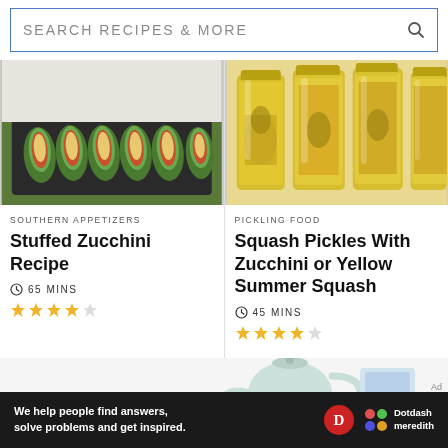[Figure (screenshot): Search bar with text SEARCH RECIPES & MORE and a magnifying glass icon]
[Figure (photo): Photo of stuffed zucchini boats filled with cheese and tomato topping on a baking tray]
SOUTHERN APPETIZERS
Stuffed Zucchini Recipe
65 MINS
[Figure (illustration): Star rating: 4 out of 5 stars (4 filled yellow stars, 1 empty star)]
[Figure (photo): Photo of glass jars filled with yellow squash pickles in brine]
PICKLING FOOD
Squash Pickles With Zucchini or Yellow Summer Squash
45 MINS
[Figure (illustration): Star rating: 4 out of 5 stars (4 filled yellow stars, 1 empty star)]
[Figure (illustration): Illustration of a teapot being poured]
Ad
[Figure (logo): Dotdash Meredith advertisement banner: We help people find answers, solve problems and get inspired. Logo with D circle and colorful dots]
We help people find answers, solve problems and get inspired.
Dotdash meredith